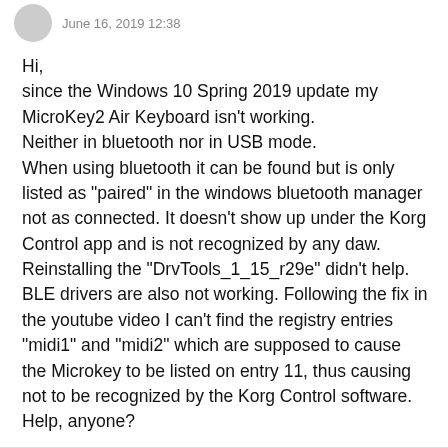June 16, 2019 12:38
Hi,
since the Windows 10 Spring 2019 update my MicroKey2 Air Keyboard isn't working.
Neither in bluetooth nor in USB mode.
When using bluetooth it can be found but is only listed as "paired" in the windows bluetooth manager not as connected. It doesn't show up under the Korg Control app and is not recognized by any daw. Reinstalling the "DrvTools_1_15_r29e" didn't help. BLE drivers are also not working. Following the fix in the youtube video I can't find the registry entries "midi1" and "midi2" which are supposed to cause the Microkey to be listed on entry 11, thus causing not to be recognized by the Korg Control software. Help, anyone?